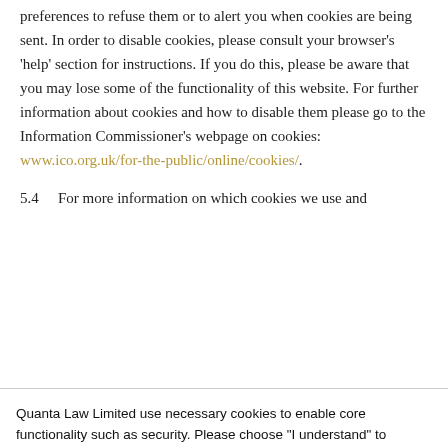preferences to refuse them or to alert you when cookies are being sent. In order to disable cookies, please consult your browser's 'help' section for instructions. If you do this, please be aware that you may lose some of the functionality of this website. For further information about cookies and how to disable them please go to the Information Commissioner's webpage on cookies: www.ico.org.uk/for-the-public/online/cookies/.
5.4  For more information on which cookies we use and
Quanta Law Limited use necessary cookies to enable core functionality such as security. Please choose "I understand" to confirm you understand the cookies we use. To get more details on what these cookies are and what they do. Please click onto our Cookies Policy.
I understand